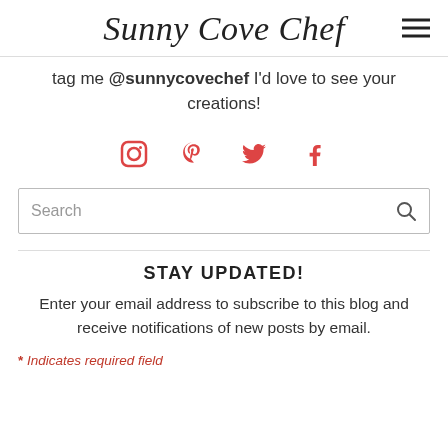Sunny Cove Chef
tag me @sunnycovechef I'd love to see your creations!
[Figure (infographic): Social media icons: Instagram, Pinterest, Twitter, Facebook in red/coral color]
[Figure (other): Search input box with placeholder text 'Search' and a magnifying glass icon on the right]
STAY UPDATED!
Enter your email address to subscribe to this blog and receive notifications of new posts by email.
* Indicates required field